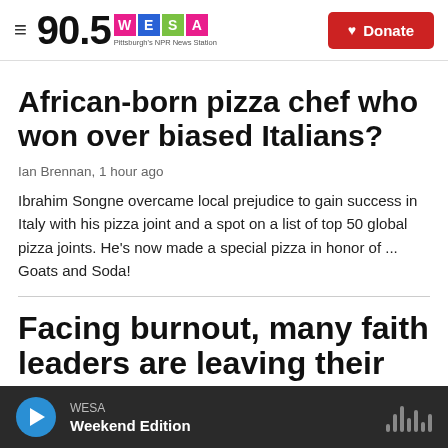90.5 WESA — Pittsburgh's NPR News Station | Donate
African-born pizza chef who won over biased Italians?
Ian Brennan,  1 hour ago
Ibrahim Songne overcame local prejudice to gain success in Italy with his pizza joint and a spot on a list of top 50 global pizza joints. He's now made a special pizza in honor of ... Goats and Soda!
Facing burnout, many faith leaders are leaving their ministries
WESA  Weekend Edition